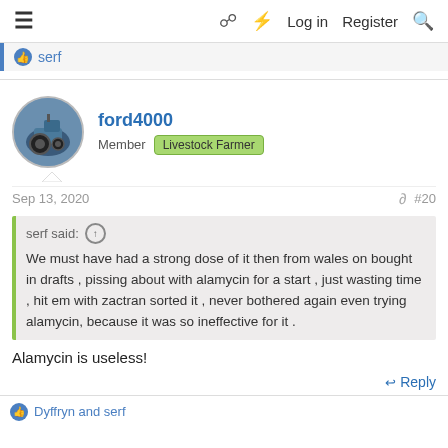≡  [book icon] [flash icon]  Log in  Register  [search icon]
serf
ford4000
Member  Livestock Farmer
Sep 13, 2020  #20
serf said: ↑
We must have had a strong dose of it then from wales on bought in drafts , pissing about with alamycin for a start , just wasting time , hit em with zactran sorted it , never bothered again even trying alamycin, because it was so ineffective for it .
Alamycin is useless!
Reply
Dyffryn and serf